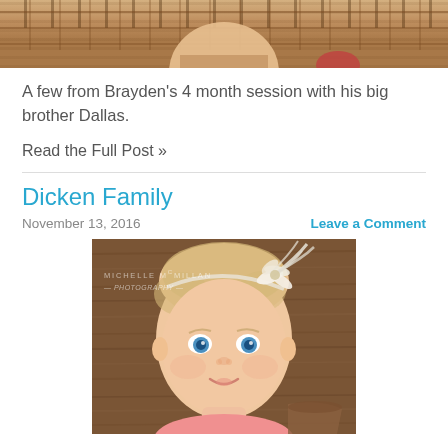[Figure (photo): Top portion of a baby/child photo showing a wire basket with burlap, cropped at the top of the page]
A few from Brayden's 4 month session with his big brother Dallas.
Read the Full Post »
Dicken Family
November 13, 2016
Leave a Comment
[Figure (photo): Close-up portrait of a baby girl with blue eyes and a white feather flower headband, wearing a pink outfit, photographed against a wooden background. Watermark reads MICHELLE McMILLAN photography.]